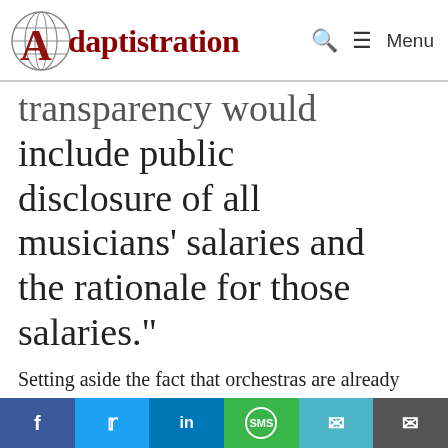Adaptistration
transparency would include public disclosure of all musicians’ salaries and the rationale for those salaries."
Setting aside the fact that orchestras are already required by the Internal Revenue Service to disclose employee